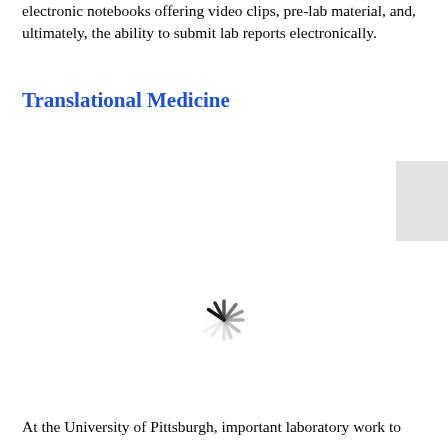electronic notebooks offering video clips, pre-lab material, and, ultimately, the ability to submit lab reports electronically.
Translational Medicine
[Figure (other): Gray rectangle tab on right side of page, decorative sidebar element]
[Figure (other): Loading spinner icon (asterisk/snowflake shape) indicating content loading]
At the University of Pittsburgh, important laboratory work to